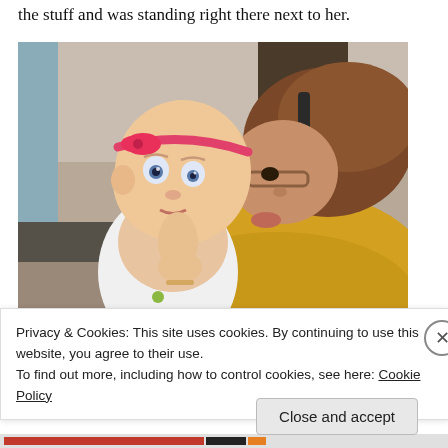the stuff and was standing right there next to her.
[Figure (photo): A woman with brown hair and glasses wearing a yellow top kisses a baby girl dressed in a white polka-dot outfit with a pink bow headband. The baby looks toward the camera with wide eyes.]
Privacy & Cookies: This site uses cookies. By continuing to use this website, you agree to their use.
To find out more, including how to control cookies, see here: Cookie Policy
Close and accept